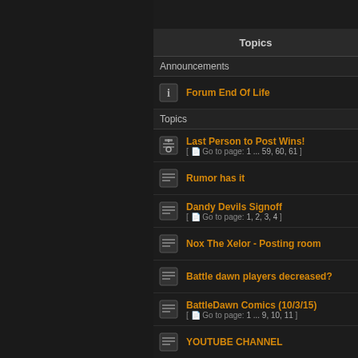Topics
Announcements
Forum End Of Life
Topics
Last Person to Post Wins! [ Go to page: 1 ... 59, 60, 61 ]
Rumor has it
Dandy Devils Signoff [ Go to page: 1, 2, 3, 4 ]
Nox The Xelor - Posting room
Battle dawn players decreased?
BattleDawn Comics (10/3/15) [ Go to page: 1 ... 9, 10, 11 ]
YOUTUBE CHANNEL
#1 Champion Player
Ilona's Clevage Appreciation Thread